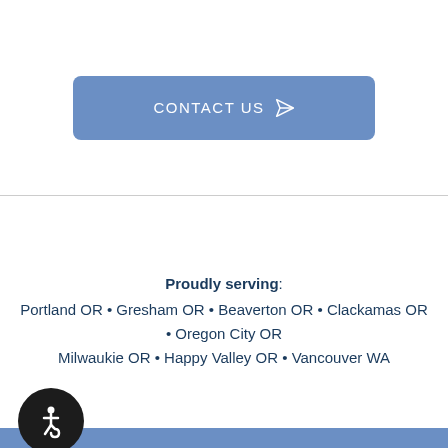[Figure (other): Blue rounded button with text CONTACT US and a paper airplane send icon]
Proudly serving: Portland OR • Gresham OR • Beaverton OR • Clackamas OR • Oregon City OR Milwaukie OR • Happy Valley OR • Vancouver WA
[Figure (other): Blue footer bar with wheelchair accessibility icon in black circle]